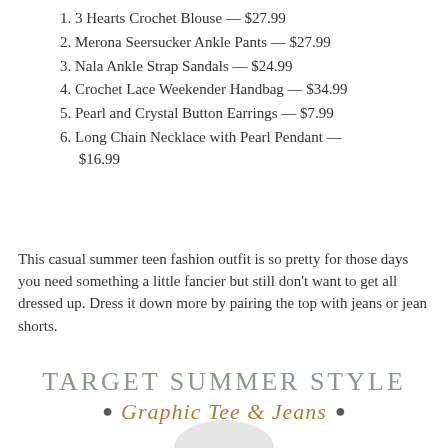1. 3 Hearts Crochet Blouse — $27.99
2. Merona Seersucker Ankle Pants — $27.99
3. Nala Ankle Strap Sandals — $24.99
4. Crochet Lace Weekender Handbag — $34.99
5. Pearl and Crystal Button Earrings — $7.99
6. Long Chain Necklace with Pearl Pendant — $16.99
This casual summer teen fashion outfit is so pretty for those days you need something a little fancier but still don't want to get all dressed up. Dress it down more by pairing the top with jeans or jean shorts.
TARGET SUMMER STYLE
• Graphic Tee & Jeans •
[Figure (photo): A light grey graphic t-shirt partially visible at the bottom of the page.]